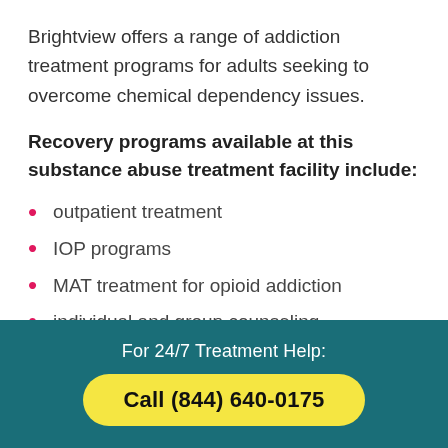Brightview offers a range of addiction treatment programs for adults seeking to overcome chemical dependency issues.
Recovery programs available at this substance abuse treatment facility include:
outpatient treatment
IOP programs
MAT treatment for opioid addiction
individual and group counseling
For 24/7 Treatment Help: Call (844) 640-0175